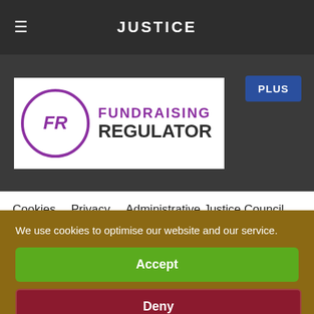JUSTICE
[Figure (logo): Fundraising Regulator logo with FR in purple circle and text FUNDRAISING REGULATOR]
PLUS
Cookies   Privacy   Administrative Justice Council
We use cookies to optimise our website and our service.
Accept
Deny
Preferences
Cookie policy   Privacy